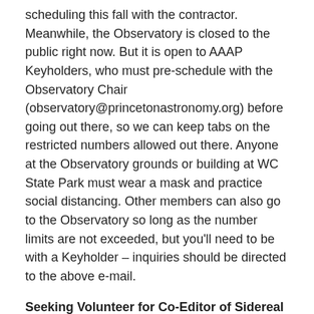scheduling this fall with the contractor. Meanwhile, the Observatory is closed to the public right now. But it is open to AAAP Keyholders, who must pre-schedule with the Observatory Chair (observatory@princetonastronomy.org) before going out there, so we can keep tabs on the restricted numbers allowed out there. Anyone at the Observatory grounds or building at WC State Park must wear a mask and practice social distancing. Other members can also go to the Observatory so long as the number limits are not exceeded, but you'll need to be with a Keyholder – inquiries should be directed to the above e-mail.
Seeking Volunteer for Co-Editor of Sidereal Times.
We are seeking a member with the “right stuff” to help edit and produce content provided by members as Sidereal Times co-editor, along with editor Surabhi Agarwal (who